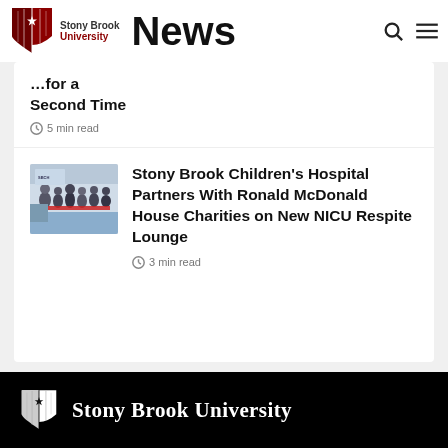Stony Brook University News
...for a Second Time
5 min read
[Figure (photo): People at a ribbon cutting ceremony inside a hospital or institution]
Stony Brook Children's Hospital Partners With Ronald McDonald House Charities on New NICU Respite Lounge
3 min read
Stony Brook University